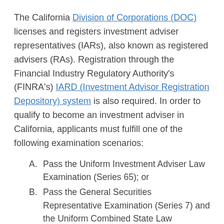The California Division of Corporations (DOC) licenses and registers investment adviser representatives (IARs), also known as registered advisers (RAs). Registration through the Financial Industry Regulatory Authority's (FINRA's) IARD (Investment Advisor Registration Depository) system is also required. In order to qualify to become an investment adviser in California, applicants must fulfill one of the following examination scenarios:
A. Pass the Uniform Investment Adviser Law Examination (Series 65); or
B. Pass the General Securities Representative Examination (Series 7) and the Uniform Combined State Law Examination (Series 66)
Countless investment adviser (IA) firms with globally